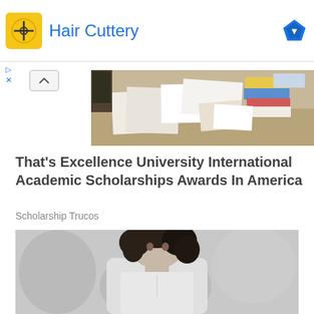[Figure (other): Advertisement banner for Hair Cuttery with logo icon and blue text title, with blue diamond badge on the right]
[Figure (photo): Photo of a cluttered desk with papers, books, and office supplies]
That's Excellence University International Academic Scholarships Awards In America
Scholarship Trucos
[Figure (photo): Black and white portrait photo of a young woman with curly hair wearing a sleeveless white shirt, looking directly at the camera]